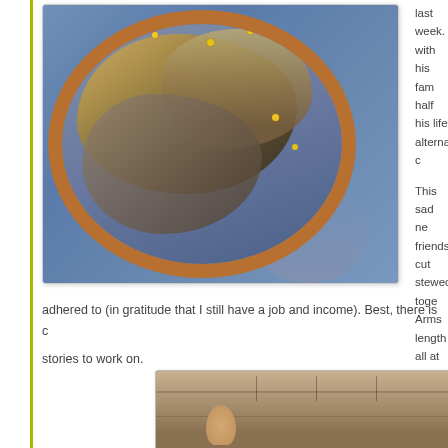[Figure (photo): Embroidery hoop with fabric patches pinned on blue denim background, showing textile work in progress with yellow and white pins]
last week. with his fam half his life alternative c
This sad ne friends, cut stewed toge Arms lengt all at once.
I let the sad thrash and overtired to
Now, there' need vacu adhered to (in gratitude that I still have a job and income). Best, there is c stories to work on.
[Figure (photo): Child working at a wooden table or workbench, viewed from above]